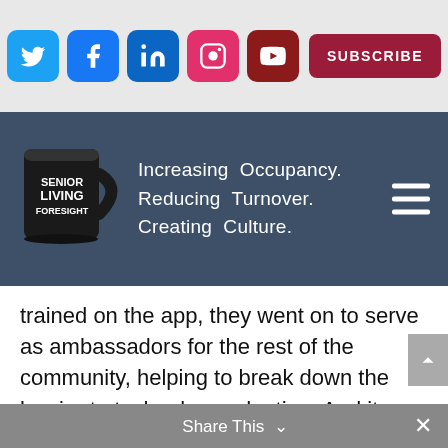[Figure (screenshot): Social media icons for Twitter, Facebook, LinkedIn, Instagram, YouTube, and a Subscribe button on a light gray background]
[Figure (logo): Senior Living Foresight logo with a black mug and tagline: Increasing Occupancy. Reducing Turnover. Creating Culture. on a dark blue-gray banner]
trained on the app, they went on to serve as ambassadors for the rest of the community, helping to break down the barrier to technology adoption. And it was a success! The two training sessions they held were full to capacity, according to Diana.
Share This ∨  ×